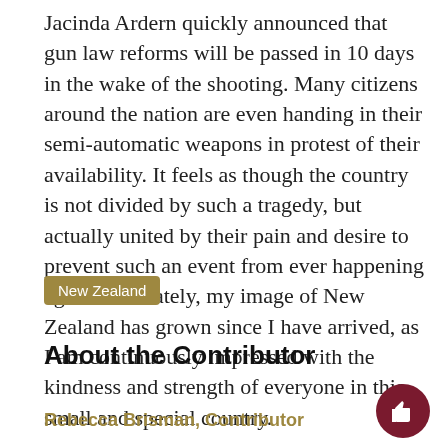Jacinda Ardern quickly announced that gun law reforms will be passed in 10 days in the wake of the shooting. Many citizens around the nation are even handing in their semi-automatic weapons in protest of their availability. It feels as though the country is not divided by such a tragedy, but actually united by their pain and desire to prevent such an event from ever happening again. Ultimately, my image of New Zealand has grown since I have arrived, as I am continuously impressed with the kindness and strength of everyone in this small and special country.
New Zealand
About the Contributor
Rebecca Brisman, Contributor